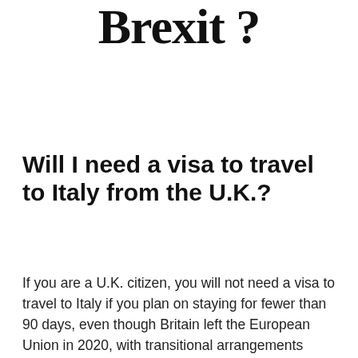Brexit ?
Will I need a visa to travel to Italy from the U.K.?
If you are a U.K. citizen, you will not need a visa to travel to Italy if you plan on staying for fewer than 90 days, even though Britain left the European Union in 2020, with transitional arrangements expiring at the end of the year. This has been a thorny issue for